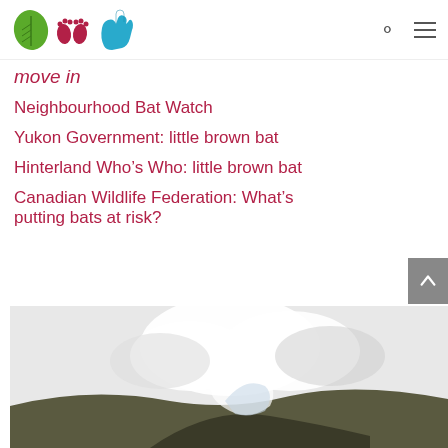[Figure (logo): Website logo with green leaf, red footprints, and blue hand icons]
move in
Neighbourhood Bat Watch
Yukon Government: little brown bat
Hinterland Who’s Who: little brown bat
Canadian Wildlife Federation: What’s putting bats at risk?
[Figure (photo): Outdoor landscape photo with clouds and terrain visible at bottom of page]